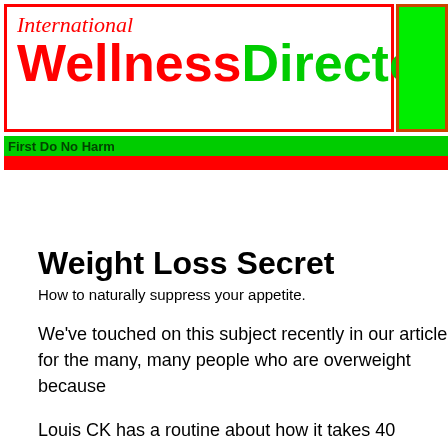[Figure (logo): International WellnessDirectory logo with red and green text on white background with red border, and green box to the right]
First Do No Harm
Weight Loss Secret
How to naturally suppress your appetite.
We've touched on this subject recently in our article for the many, many people who are overweight because
Louis CK has a routine about how it takes 40 minutes it sure as heck doesn't take the most direct route; pro organs.